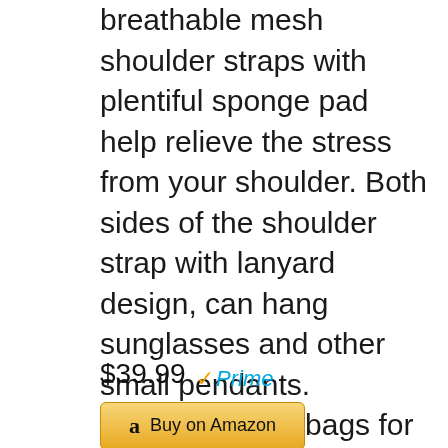breathable mesh shoulder straps with plentiful sponge pad help relieve the stress from your shoulder. Both sides of the shoulder strap with lanyard design, can hang sunglasses and other small pendants. Premium Book bags for men Also computer backpack for women. And it is a ideal present for men women or back to school graduation presen
$39.99 Prime
Buy on Amazon